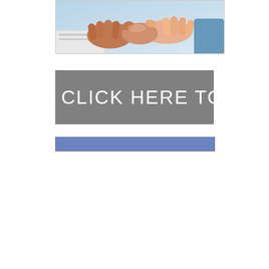[Figure (photo): Handshake between two people over a desk, business setting, light blue background]
[Figure (other): Gray button with white text reading 'CLICK HERE TO ...']
[Figure (other): Blue horizontal bar/banner element]